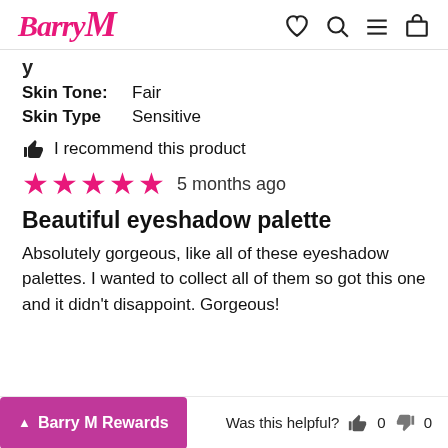Barry M [logo with heart, search, menu, bag icons]
Skin Tone: Fair
Skin Type: Sensitive
👍 I recommend this product
★★★★★ 5 months ago
Beautiful eyeshadow palette
Absolutely gorgeous, like all of these eyeshadow palettes. I wanted to collect all of them so got this one and it didn't disappoint. Gorgeous!
▲ Barry M Rewards   Was this helpful? 👍 0 👎 0